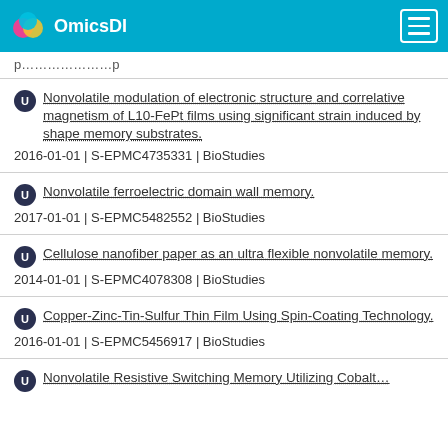OmicsDI
Nonvolatile modulation of electronic structure and correlative magnetism of L10-FePt films using significant strain induced by shape memory substrates.
2016-01-01 | S-EPMC4735331 | BioStudies
Nonvolatile ferroelectric domain wall memory.
2017-01-01 | S-EPMC5482552 | BioStudies
Cellulose nanofiber paper as an ultra flexible nonvolatile memory.
2014-01-01 | S-EPMC4078308 | BioStudies
Copper-Zinc-Tin-Sulfur Thin Film Using Spin-Coating Technology.
2016-01-01 | S-EPMC5456917 | BioStudies
Nonvolatile Resistive Switching Memory Utilizing Cobalt...